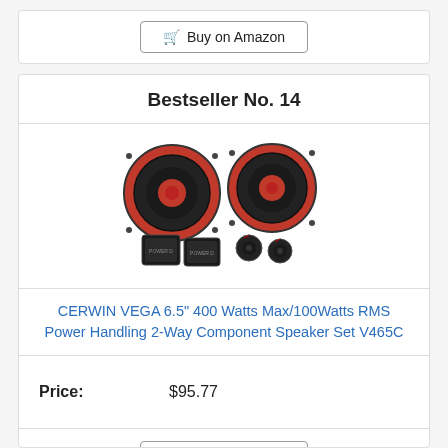Buy on Amazon
Bestseller No. 14
[Figure (photo): CERWIN VEGA 6.5" component speaker set showing two red/black woofers, two crossover modules, and two tweeters]
CERWIN VEGA 6.5" 400 Watts Max/100Watts RMS Power Handling 2-Way Component Speaker Set V465C
Price: $95.77
Buy on Amazon